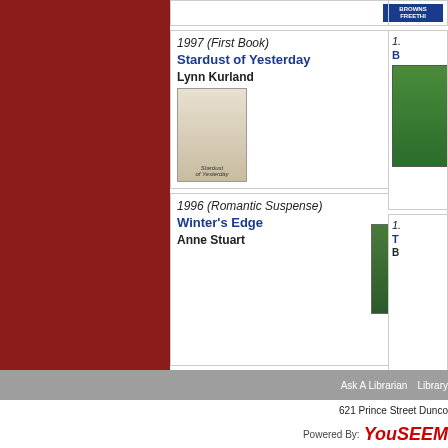[Figure (other): Dark red/maroon sidebar panel on left side of page]
1997 (First Book)
Stardust of Yesterday
Lynn Kurland
[Figure (photo): Book cover of Stardust of Yesterday by Lynn Kurland - shows woman in white, title text at bottom]
1996 (Romantic Suspense)
Winter's Edge
Anne Stuart
[Figure (photo): Book cover of Winter's Edge by Anne Stuart - green cover with Anne Stuart name large]
Ask A Librarian   Library
621 Prince Street Dunco
Powered By: YouSeeM